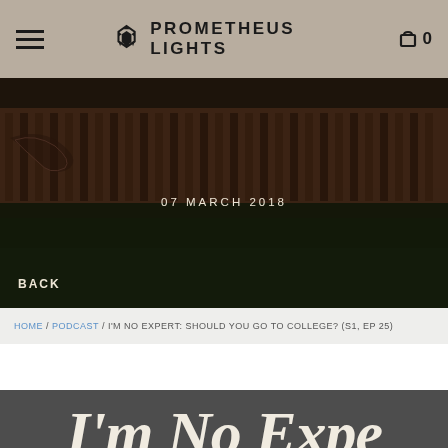PROMETHEUS LIGHTS
[Figure (photo): Dark hero image showing a tactical flashlight with ridged body and decorative engraving, placed on grass background. Date overlay reads '07 MARCH 2018' and 'BACK' navigation link.]
07 MARCH 2018
BACK
HOME / PODCAST / I'M NO EXPERT: SHOULD YOU GO TO COLLEGE? (S1, EP 25)
[Figure (screenshot): Dark gray podcast card showing the beginning of text 'I'm No Expe' (truncated) in large white serif italic font with underline]
I'm No Expe